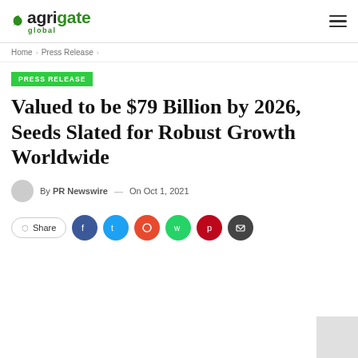agrigate global
Home › Press Release ›
PRESS RELEASE
Valued to be $79 Billion by 2026, Seeds Slated for Robust Growth Worldwide
By PR Newswire — On Oct 1, 2021
Share